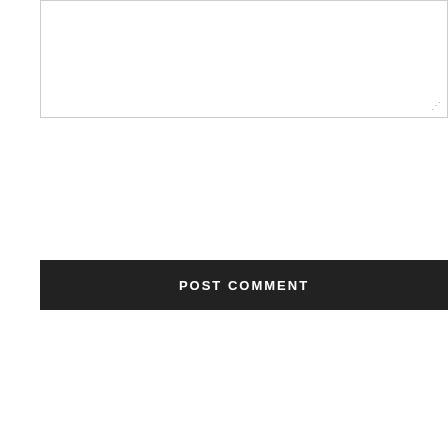[Figure (screenshot): Empty textarea input box with resize handle in bottom-right corner]
POST COMMENT
Freshly Published
[Figure (photo): Horizontal strip of article thumbnail images showing dark magenta, purple/blue app screenshot, and an orange/dark product image]